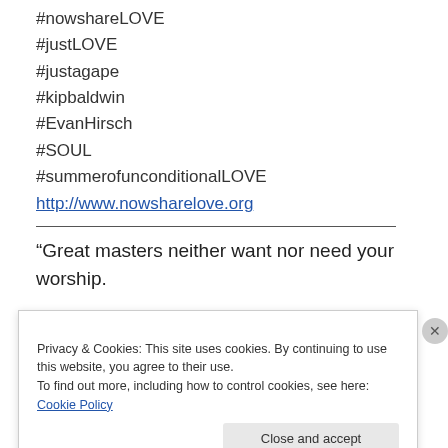#nowshareLOVE
#justLOVE
#justagape
#kipbaldwin
#EvanHirsch
#SOUL
#summerofunconditionalLOVE
http://www.nowsharelove.org
“Great masters neither want nor need your worship. Your greatest gift to them and yourself is to emulate
Privacy & Cookies: This site uses cookies. By continuing to use this website, you agree to their use. To find out more, including how to control cookies, see here: Cookie Policy
Close and accept